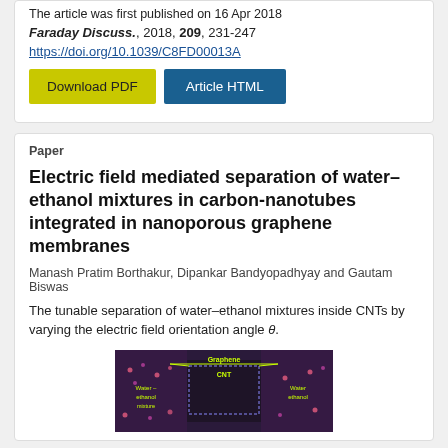The article was first published on 16 Apr 2018
Faraday Discuss., 2018, 209, 231-247
https://doi.org/10.1039/C8FD00013A
[Figure (other): Download PDF button (yellow) and Article HTML button (blue)]
Paper
Electric field mediated separation of water–ethanol mixtures in carbon-nanotubes integrated in nanoporous graphene membranes
Manash Pratim Borthakur, Dipankar Bandyopadhyay and Gautam Biswas
The tunable separation of water–ethanol mixtures inside CNTs by varying the electric field orientation angle θ.
[Figure (illustration): TOC graphical abstract showing graphene membrane with CNT, water-ethanol mixture on both sides, labeled with 'Graphene', 'CNT', 'Water–ethanol' on left and right sides]